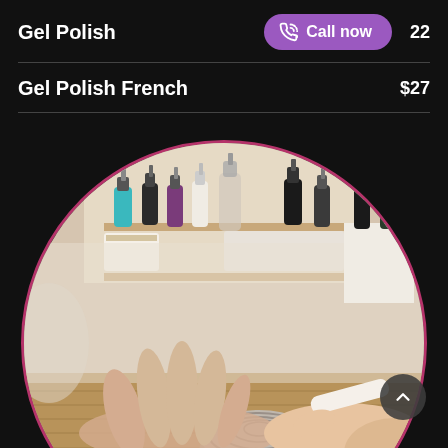Gel Polish
Call now
22
Gel Polish French
$27
[Figure (photo): Circular photo of a nail technician filing a client's nails at a wooden table with rolled towels and nail polish bottles in the background.]